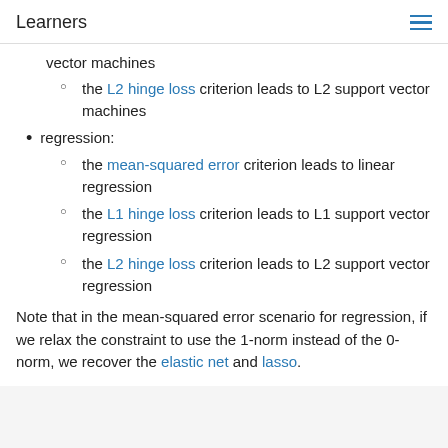Learners
vector machines
the L2 hinge loss criterion leads to L2 support vector machines
regression:
the mean-squared error criterion leads to linear regression
the L1 hinge loss criterion leads to L1 support vector regression
the L2 hinge loss criterion leads to L2 support vector regression
Note that in the mean-squared error scenario for regression, if we relax the constraint to use the 1-norm instead of the 0-norm, we recover the elastic net and lasso.